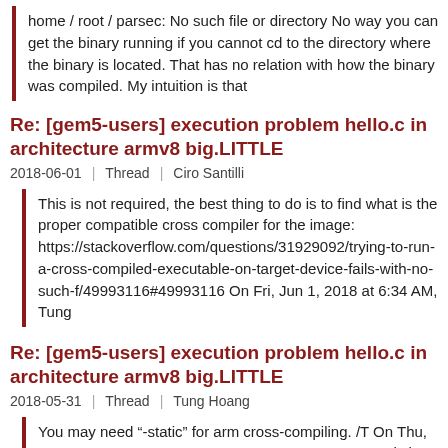home / root / parsec: No such file or directory No way you can get the binary running if you cannot cd to the directory where the binary is located. That has no relation with how the binary was compiled. My intuition is that
Re: [gem5-users] execution problem hello.c in architecture armv8 big.LITTLE
2018-06-01 | Thread | Ciro Santilli
This is not required, the best thing to do is to find what is the proper compatible cross compiler for the image: https://stackoverflow.com/questions/31929092/trying-to-run-a-cross-compiled-executable-on-target-device-fails-with-no-such-f/49993116#49993116 On Fri, Jun 1, 2018 at 6:34 AM, Tung
Re: [gem5-users] execution problem hello.c in architecture armv8 big.LITTLE
2018-05-31 | Thread | Tung Hoang
You may need "-static" for arm cross-compiling. /T On Thu, May 31, 2018 at 3:19 PM commerce _com wrote: > Hi ciro, > > I'm sure the binary of the compilation is in the image on the path: / > home / root / parsec > > but I did not understand how to solve this problem: Please, > > > com_ > >